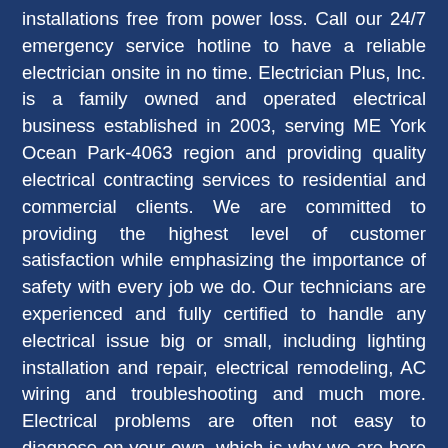installations free from power loss. Call our 24/7 emergency service hotline to have a reliable electrician onsite in no time. Electrician Plus, Inc. is a family owned and operated electrical business established in 2003, serving ME York Ocean Park-4063 region and providing quality electrical contracting services to residential and commercial clients. We are committed to providing the highest level of customer satisfaction while emphasizing the importance of safety with every job we do. Our technicians are experienced and fully certified to handle any electrical issue big or small, including lighting installation and repair, electrical remodeling, AC wiring and troubleshooting and much more. Electrical problems are often not easy to diagnose on your own, which is why we are here to help when you need a fast, qualified electrician in ME York Ocean Park-4063